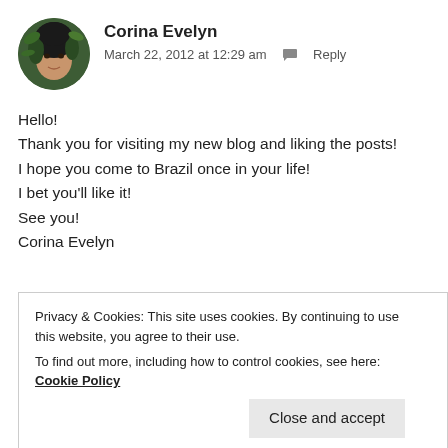[Figure (photo): Circular avatar photo of Corina Evelyn, a woman with dark hair among green foliage]
Corina Evelyn
March 22, 2012 at 12:29 am  Reply
Hello!
Thank you for visiting my new blog and liking the posts!
I hope you come to Brazil once in your life!
I bet you'll like it!
See you!
Corina Evelyn
★ Like
Privacy & Cookies: This site uses cookies. By continuing to use this website, you agree to their use.
To find out more, including how to control cookies, see here: Cookie Policy
Close and accept